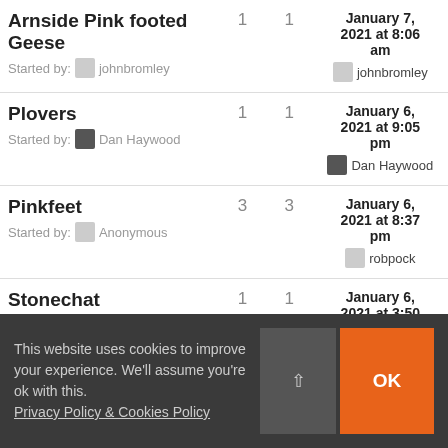| Topic | Replies | Views | Last Post |
| --- | --- | --- | --- |
| Arnside Pink footed Geese
Started by: johnbromley | 1 | 1 | January 7, 2021 at 8:06 am
johnbromley |
| Plovers
Started by: Dan Haywood | 1 | 1 | January 6, 2021 at 9:05 pm
Dan Haywood |
| Pinkfeet
Started by: Anonymous | 3 | 3 | January 6, 2021 at 8:37 pm
robpock |
| Stonechat
Started by: Kerin R... | 1 | 1 | January 6, 2021 at 3:50 ... |
This website uses cookies to improve your experience. We'll assume you're ok with this.
Privacy Policy & Cookies Policy